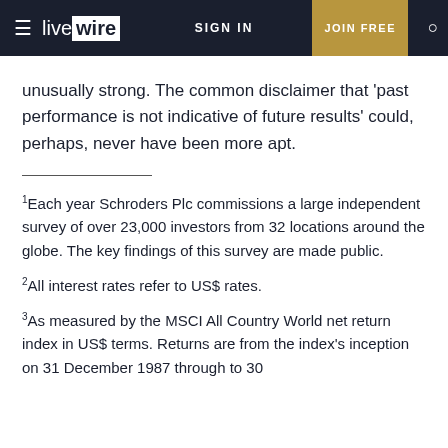live wire | SIGN IN | JOIN FREE
unusually strong. The common disclaimer that 'past performance is not indicative of future results' could, perhaps, never have been more apt.
1 Each year Schroders Plc commissions a large independent survey of over 23,000 investors from 32 locations around the globe. The key findings of this survey are made public.
2 All interest rates refer to US$ rates.
3 As measured by the MSCI All Country World net return index in US$ terms. Returns are from the index's inception on 31 December 1987 through to 30